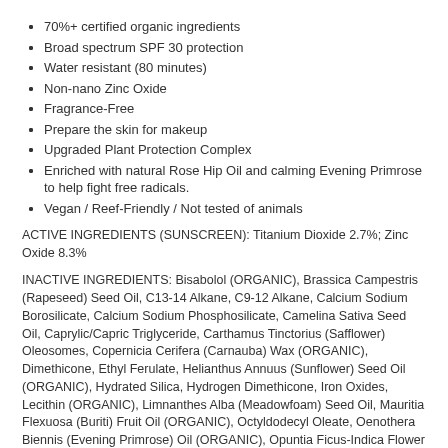70%+ certified organic ingredients
Broad spectrum SPF 30 protection
Water resistant (80 minutes)
Non-nano Zinc Oxide
Fragrance-Free
Prepare the skin for makeup
Upgraded Plant Protection Complex
Enriched with natural Rose Hip Oil and calming Evening Primrose to help fight free radicals.
Vegan / Reef-Friendly / Not tested of animals
ACTIVE INGREDIENTS (SUNSCREEN): Titanium Dioxide 2.7%; Zinc Oxide 8.3%
INACTIVE INGREDIENTS: Bisabolol (ORGANIC), Brassica Campestris (Rapeseed) Seed Oil, C13-14 Alkane, C9-12 Alkane, Calcium Sodium Borosilicate, Calcium Sodium Phosphosilicate, Camelina Sativa Seed Oil, Caprylic/Capric Triglyceride, Carthamus Tinctorius (Safflower) Oleosomes, Copernicia Cerifera (Carnauba) Wax (ORGANIC), Dimethicone, Ethyl Ferulate, Helianthus Annuus (Sunflower) Seed Oil (ORGANIC), Hydrated Silica, Hydrogen Dimethicone, Iron Oxides, Lecithin (ORGANIC), Limnanthes Alba (Meadowfoam) Seed Oil, Mauritia Flexuosa (Buriti) Fruit Oil (ORGANIC), Octyldodecyl Oleate, Oenothera Biennis (Evening Primrose) Oil (ORGANIC), Opuntia Ficus-Indica Flower Extract, Pentaclethra Macroloba Seed Oil (ORGANIC), Platonia Insignis Seed Butter (ORGANIC), Polysilicone-11, Rosa Canina Seed Extract (ORGANIC), Rosmarinus Officinalis (Rosemary) Leaf Extract (ORGANIC), Rubus Idaeus (Raspberry) Seed Oil (ORGANIC), Silica, Simmondsia Chinensis (Jojoba) Seed Oil (ORGANIC), Tapioca Starch (ORGANIC), Theobroma Cacao (Cocoa) Seed Butter (ORGANIC), Tocopherol, Trihydroxystearin, Vitis Vinifera (Grape) Seed Oil (ORGANIC), Water.
Please observe that the ingredients are collected from the product bottle or packaging when we add the product to our store. In some cases this